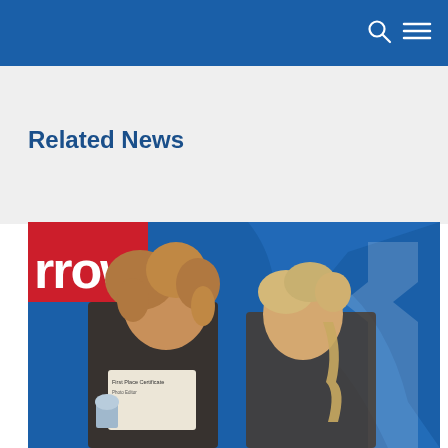Related News
[Figure (photo): Two young students posing in front of a blue background with white logo design and a partial red banner reading 'rrow'. The student on the left has curly hair and holds a First Place Certificate and a trophy. The student on the right has braided blonde hair and is smiling.]